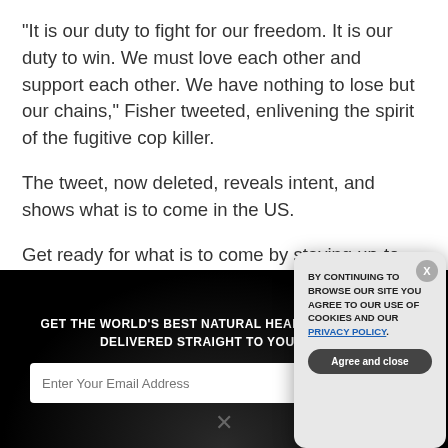“It is our duty to fight for our freedom. It is our duty to win. We must love each other and support each other. We have nothing to lose but our chains,” Fisher tweeted, enlivening the spirit of the fugitive cop killer.
The tweet, now deleted, reveals intent, and shows what is to come in the US.
Get ready for what is to come by staying up-to-date with Preparedness.News.
GET THE WORLD’S BEST NATURAL HEALTH NEWSLETTER DELIVERED STRAIGHT TO YOUR INBOX
[Figure (screenshot): Cookie consent modal popup with text: BY CONTINUING TO BROWSE OUR SITE YOU AGREE TO OUR USE OF COOKIES AND OUR PRIVACY POLICY. with an Agree and close button and X close button.]